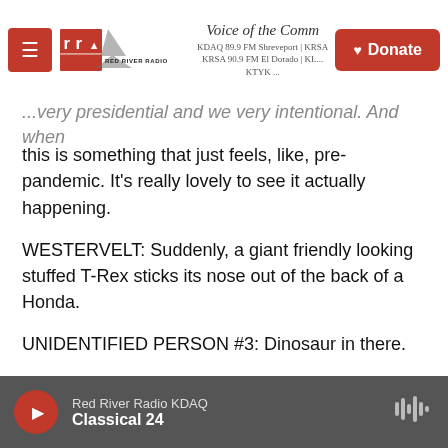Red River Radio — Voice of the Community | KDAQ 89.9 FM Shreveport | KRSA 90.9 FM El Dorado | KLSA | KTYK | Donate
...very presidential and we very intentional. And when this is something that just feels, like, pre-pandemic. It's really lovely to see it actually happening.
WESTERVELT: Suddenly, a giant friendly looking stuffed T-Rex sticks its nose out of the back of a Honda.
UNIDENTIFIED PERSON #3: Dinosaur in there.
UNIDENTIFIED CHILD: Does it come out, Daddy (ph)?
WESTERVELT: Everyone was wearing a mask. The
Red River Radio KDAQ — Classical 24